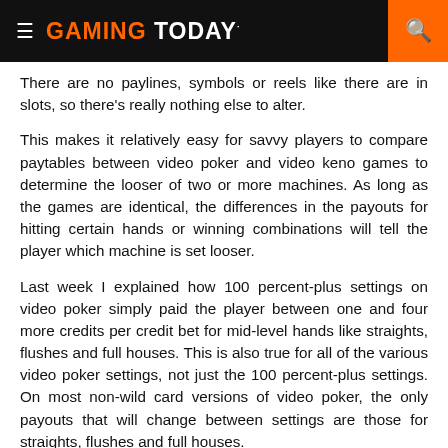≡ GAMING TODAY·  🔍
There are no paylines, symbols or reels like there are in slots, so there's really nothing else to alter.
This makes it relatively easy for savvy players to compare paytables between video poker and video keno games to determine the looser of two or more machines. As long as the games are identical, the differences in the payouts for hitting certain hands or winning combinations will tell the player which machine is set looser.
Last week I explained how 100 percent-plus settings on video poker simply paid the player between one and four more credits per credit bet for mid-level hands like straights, flushes and full houses. This is also true for all of the various video poker settings, not just the 100 percent-plus settings. On most non-wild card versions of video poker, the only payouts that will change between settings are those for straights, flushes and full houses.